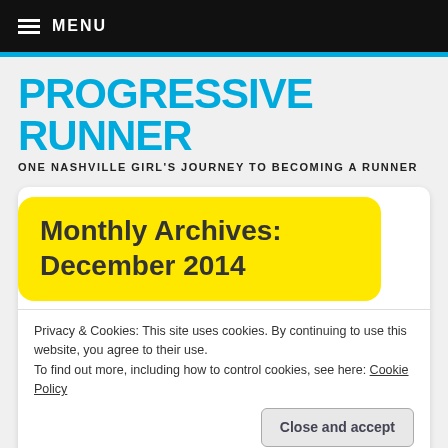≡ MENU
PROGRESSIVE RUNNER
ONE NASHVILLE GIRL'S JOURNEY TO BECOMING A RUNNER
Monthly Archives: December 2014
Privacy & Cookies: This site uses cookies. By continuing to use this website, you agree to their use.
To find out more, including how to control cookies, see here: Cookie Policy
Close and accept
[Figure (bar-chart): Partial bar chart visible at bottom of page, green bars]